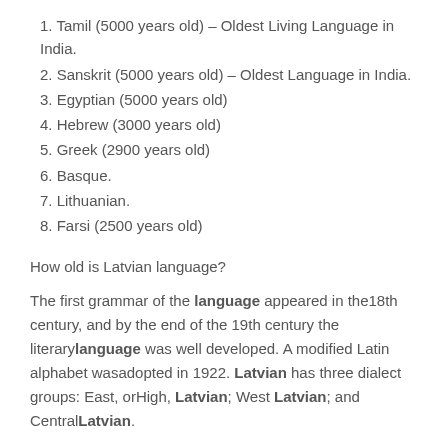1. Tamil (5000 years old) – Oldest Living Language in India.
2. Sanskrit (5000 years old) – Oldest Language in India.
3. Egyptian (5000 years old)
4. Hebrew (3000 years old)
5. Greek (2900 years old)
6. Basque.
7. Lithuanian.
8. Farsi (2500 years old)
How old is Latvian language?
The first grammar of the language appeared in the18th century, and by the end of the 19th century the literarylanguage was well developed. A modified Latin alphabet wasadopted in 1922. Latvian has three dialect groups: East, orHigh, Latvian; West Latvian; and CentralLatvian.